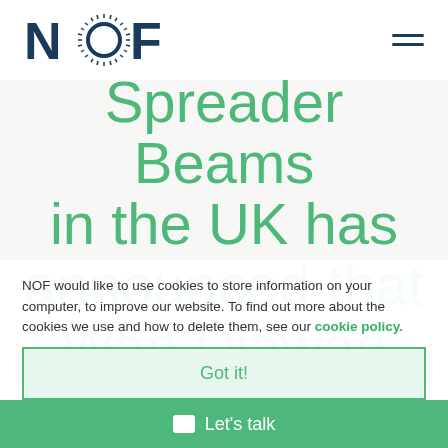[Figure (logo): NOF logo with dark blue text letters N, O (with radiating lines), F]
Spreader Beams in the UK has announced that Wan Djawad QCagMiMectl has joined its
NOF would like to use cookies to store information on your computer, to improve our website. To find out more about the cookies we use and how to delete them, see our cookie policy.
Got it!
Let's talk